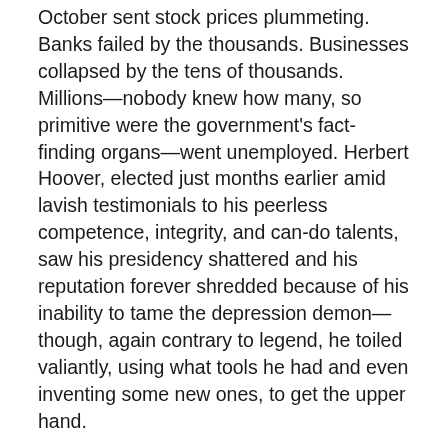October sent stock prices plummeting. Banks failed by the thousands. Businesses collapsed by the tens of thousands. Millions—nobody knew how many, so primitive were the government's fact-finding organs—went unemployed. Herbert Hoover, elected just months earlier amid lavish testimonials to his peerless competence, integrity, and can-do talents, saw his presidency shattered and his reputation forever shredded because of his inability to tame the depression demon—though, again contrary to legend, he toiled valiantly, using what tools he had and even inventing some new ones, to get the upper hand.
By 1932, some thirteen million Americans were out of work, one out of every four able and willing workers in the country. Even those horrendous numbers could not begin to take the full measure of the human misery that unemployment entailed. Given the demography of the labor force and prevailing cultural norms that kept most women, and almost all married women, out of the wage-paying...